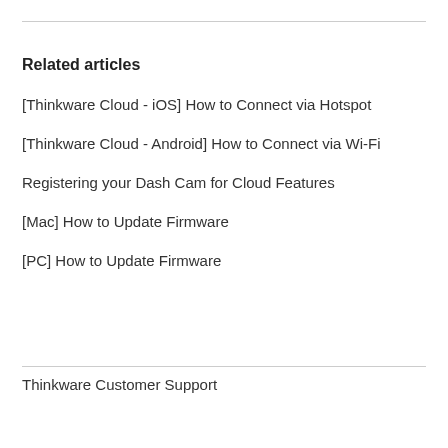Related articles
[Thinkware Cloud - iOS] How to Connect via Hotspot
[Thinkware Cloud - Android] How to Connect via Wi-Fi
Registering your Dash Cam for Cloud Features
[Mac] How to Update Firmware
[PC] How to Update Firmware
Thinkware Customer Support